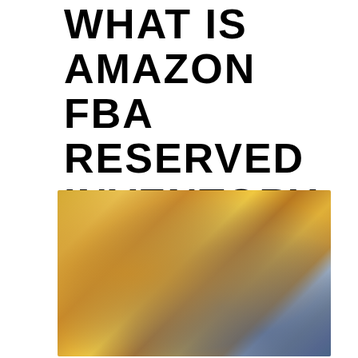WHAT IS AMAZON FBA RESERVED INVENTORY ON SELLER CENTRAL?
[Figure (photo): Blurred photo of a person (man with beard) sitting near large cardboard/Amazon boxes, suggesting an FBA warehouse or storage setting. Background is blurred with warm golden/amber tones on the left and cooler blue-grey tones on the right.]